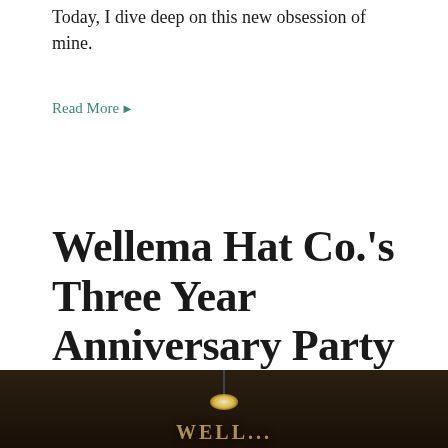Today, I dive deep on this new obsession of mine.
Read More ▶
Wellema Hat Co.'s Three Year Anniversary Party
June 3, 2019 by Ethan M. Wong
[Figure (photo): Interior photo of the Wellema Hat Co. shop, showing hanging lights and a sign on the wall.]